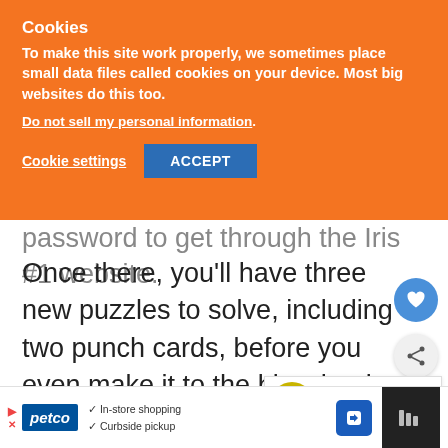Cookies
To make this site work properly, we sometimes place small data files called cookies on your device. Most big websites do this too.
Do not sell my personal information.
Cookie settings   ACCEPT
password to get through the Iris #1 website.
Once there, you'll have three new puzzles to solve, including two punch cards, before you even make it to the big wheel puzzle that everyone's talking about. The first two puzzles are really simple, but the third one is
[Figure (screenshot): Ad bar at the bottom featuring Petco logo with in-store shopping and curbside pickup checkmarks, a navigation icon, and a dark video player box]